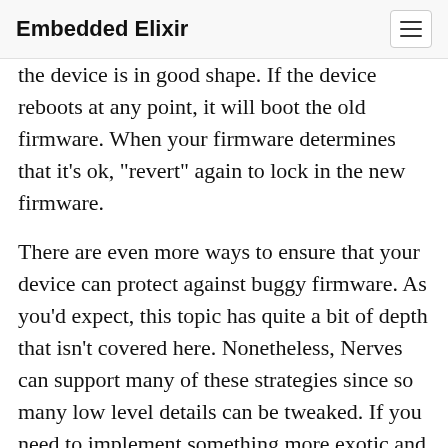Embedded Elixir
the device is in good shape. If the device reboots at any point, it will boot the old firmware. When your firmware determines that it’s ok, “revert” again to lock in the new firmware.
There are even more ways to ensure that your device can protect against buggy firmware. As you’d expect, this topic has quite a bit of depth that isn’t covered here. Nonetheless, Nerves can support many of these strategies since so many low level details can be tweaked. If you need to implement something more exotic and don’t know where to look, post a question to the